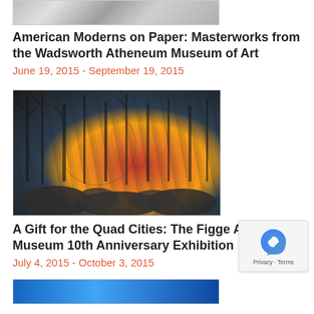[Figure (photo): Partial view of artwork/papers at top of page]
American Moderns on Paper: Masterworks from the Wadsworth Atheneum Museum of Art
June 19, 2015 - September 19, 2015
[Figure (photo): Painting of a forest landscape with trees and pinkish sunset sky]
A Gift for the Quad Cities: The Figge Art Museum 10th Anniversary Exhibition
July 4, 2015 - October 3, 2015
[Figure (photo): Partial image at bottom of page with blue tones]
[Figure (other): reCAPTCHA badge with privacy and terms links]